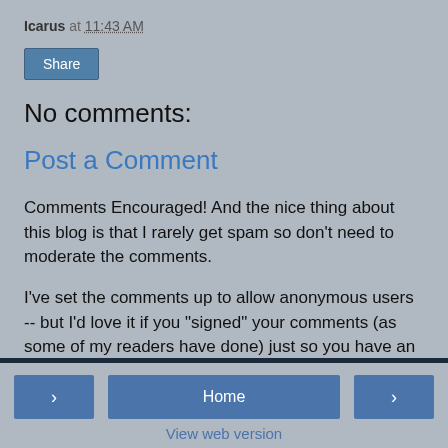Icarus at 11:43 AM
[Figure (other): Share button]
No comments:
Post a Comment
Comments Encouraged! And the nice thing about this blog is that I rarely get spam so don't need to moderate the comments.
I've set the comments up to allow anonymous users -- but I'd love it if you "signed" your comments (as some of my readers have done) just so you have an identity of sorts.
< Home > View web version